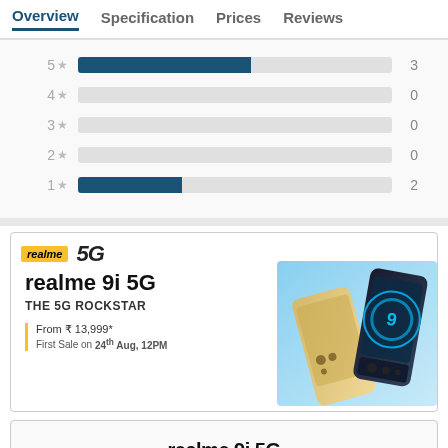Overview  Specification  Prices  Reviews
[Figure (bar-chart): Star rating distribution]
[Figure (infographic): Realme 9i 5G advertisement. Logo: realme 5G. Product name: realme 9i 5G. Tagline: THE 5G ROCKSTAR. From ₹ 13,999*. First Sale on 24th Aug, 12PM. Shows two smartphones, one gold and one dark.]
[Figure (infographic): Realme 9i 5G banner ad. Text: realme 9i 5G. From ₹ 13,999*  First Sale on 24th Aug, 12PM.]